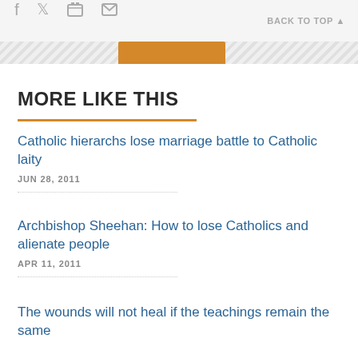f  🐦  🖨  ✉  BACK TO TOP ▲
MORE LIKE THIS
Catholic hierarchs lose marriage battle to Catholic laity
JUN 28, 2011
Archbishop Sheehan: How to lose Catholics and alienate people
APR 11, 2011
The wounds will not heal if the teachings remain the same